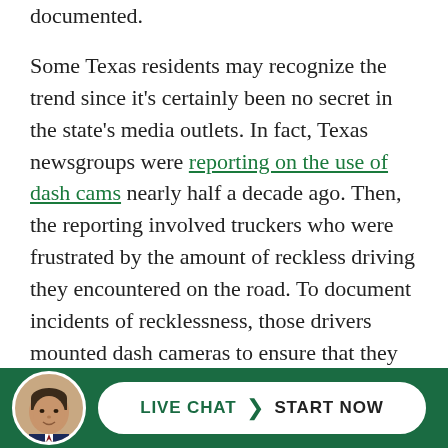documented.
Some Texas residents may recognize the trend since it's certainly been no secret in the state's media outlets. In fact, Texas newsgroups were reporting on the use of dash cams nearly half a decade ago. Then, the reporting involved truckers who were frustrated by the amount of reckless driving they encountered on the road. To document incidents of recklessness, those drivers mounted dash cameras to ensure that they were not being held responsible for crashes caused by those other drivers.
[Figure (other): Live chat widget with attorney photo avatar and button reading LIVE CHAT START NOW on a dark green background bar at the bottom of the page]